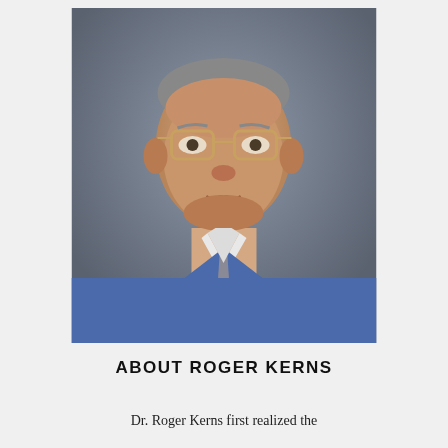[Figure (photo): Portrait photo of an older man wearing glasses and a blue v-neck sweater over a white collared shirt with a gray tie, set against a gray studio background.]
ABOUT ROGER KERNS
Dr. Roger Kerns first realized the